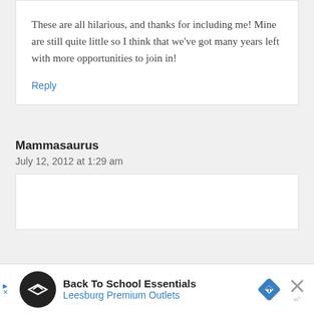These are all hilarious, and thanks for including me! Mine are still quite little so I think that we've got many years left with more opportunities to join in!
Reply
Mammasaurus
July 12, 2012 at 1:29 am
[Figure (other): Advertisement banner: Back To School Essentials - Leesburg Premium Outlets]